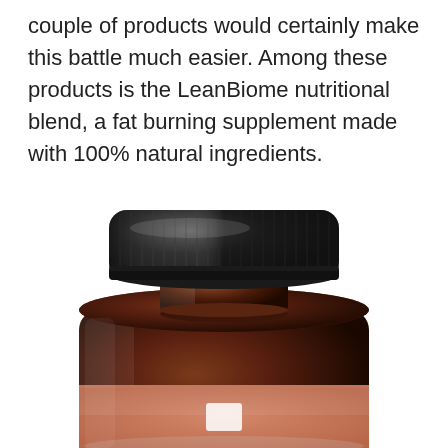couple of products would certainly make this battle much easier. Among these products is the LeanBiome nutritional blend, a fat burning supplement made with 100% natural ingredients.
[Figure (photo): A close-up photo of an amber glass supplement bottle with a black ribbed screw-top cap and a salmon/terracotta colored label with a white rectangular logo mark. The bottle is cropped showing the upper portion and label area against a white background.]